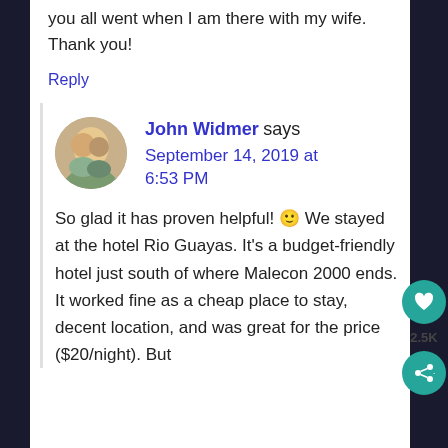you all went when I am there with my wife. Thank you!
Reply
John Widmer says September 14, 2019 at 6:53 PM
So glad it has proven helpful! 🙂 We stayed at the hotel Rio Guayas. It's a budget-friendly hotel just south of where Malecon 2000 ends. It worked fine as a cheap place to stay, decent location, and was great for the price ($20/night). But